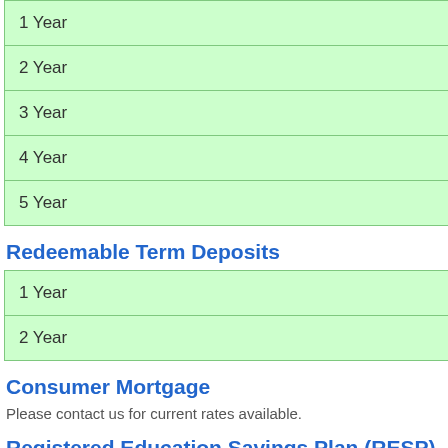| 1 Year |
| 2 Year |
| 3 Year |
| 4 Year |
| 5 Year |
Redeemable Term Deposits
| 1 Year |
| 2 Year |
Consumer Mortgage
Please contact us for current rates available.
Registered Education Savings Plan (RESP)
Please contact us for current rates available.